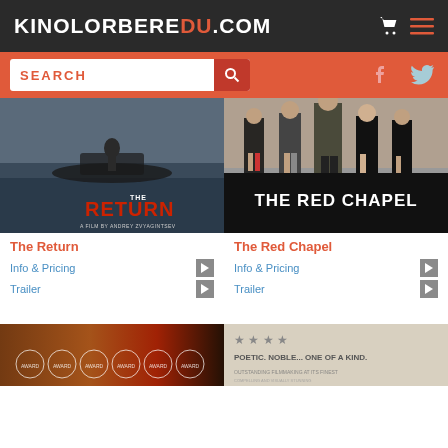KINOLORBEREDU.COM
[Figure (screenshot): Search bar with social media icons on orange background]
[Figure (photo): Movie poster for The Return - person in boat on water with red text THE RETURN]
[Figure (photo): Movie poster for The Red Chapel - group of people standing, bold white text THE RED CHAPEL on black background]
The Return
Info & Pricing
Trailer
The Red Chapel
Info & Pricing
Trailer
[Figure (photo): Partial movie poster at bottom left - dark fiery tones with laurel award circles]
[Figure (photo): Partial movie poster at bottom right - gray tones with star rating and text POETIC. NOBLE... ONE OF A KIND.]